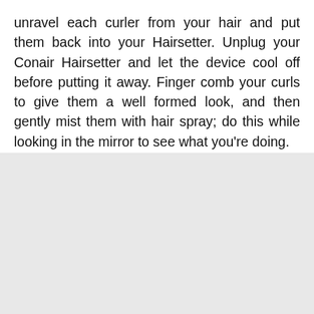unravel each curler from your hair and put them back into your Hairsetter. Unplug your Conair Hairsetter and let the device cool off before putting it away. Finger comb your curls to give them a well formed look, and then gently mist them with hair spray; do this while looking in the mirror to see what you're doing.
[Figure (other): Gray rectangular area filling the bottom half of the page, likely an image placeholder.]